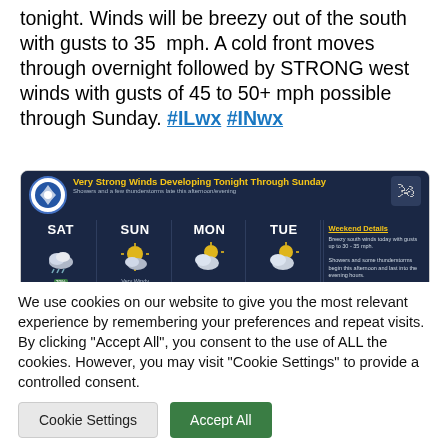tonight. Winds will be breezy out of the south with gusts to 35 mph. A cold front moves through overnight followed by STRONG west winds with gusts of 45 to 50+ mph possible through Sunday. #ILwx #INwx
[Figure (screenshot): Weather forecast graphic showing 'Very Strong Winds Developing Tonight Through Sunday' with SAT 45-51°, SUN 39-45° Very Windy Gusts 45+ mph, MON 48-53°, TUE 39-44°, and Weekend Details panel.]
We use cookies on our website to give you the most relevant experience by remembering your preferences and repeat visits. By clicking "Accept All", you consent to the use of ALL the cookies. However, you may visit "Cookie Settings" to provide a controlled consent.
Cookie Settings | Accept All